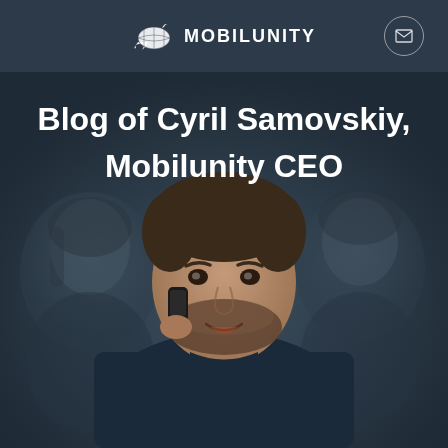MOBILUNITY
Blog of Cyril Samovskiy, Mobilunity CEO
[Figure (photo): A man in a dark blue sweater smiling and holding a phone to his ear, with two other people visible in the blurred dark background.]